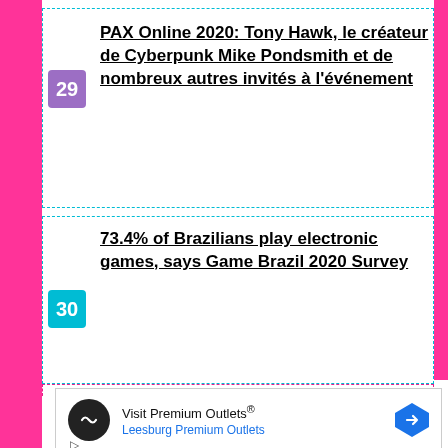PAX Online 2020: Tony Hawk, le créateur de Cyberpunk Mike Pondsmith et de nombreux autres invités à l'événement
73.4% of Brazilians play electronic games, says Game Brazil 2020 Survey
[Figure (other): Advertisement banner for Visit Premium Outlets - Leesburg Premium Outlets, with logo circle containing infinity-like icon and a blue navigation arrow icon]